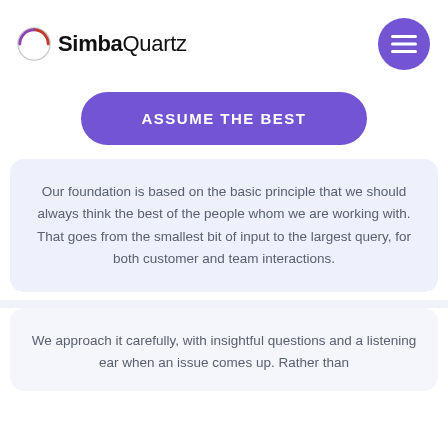SimbaQuartz
ASSUME THE BEST
Our foundation is based on the basic principle that we should always think the best of the people whom we are working with. That goes from the smallest bit of input to the largest query, for both customer and team interactions.
We approach it carefully, with insightful questions and a listening ear when an issue comes up. Rather than